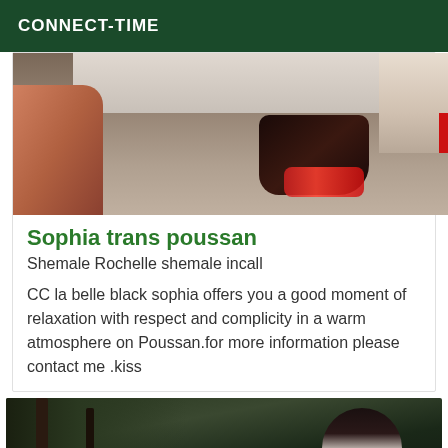CONNECT-TIME
[Figure (photo): Photo showing feet/sandals on a floor with dark objects and red accents, partial view of room]
Sophia trans poussan
Shemale Rochelle shemale incall
CC la belle black sophia offers you a good moment of relaxation with respect and complicity in a warm atmosphere on Poussan.for more information please contact me .kiss
[Figure (photo): Outdoor photo showing a person with dark hair in a wooded/forest setting with trees and greenery]